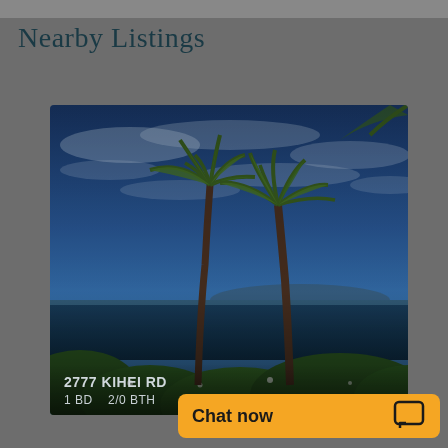Nearby Listings
[Figure (photo): Tropical beach scene with two tall palm trees against a partly cloudy blue sky, with lush green foliage and ocean visible in the background. Property listing photo for 2777 KIHEI RD.]
2777 KIHEI RD
1 BD   2/0 BTH
Chat now